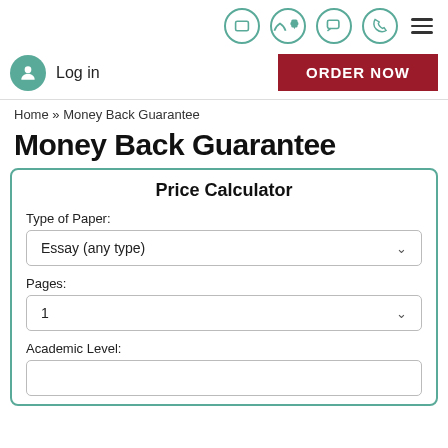Log in | ORDER NOW
Home » Money Back Guarantee
Money Back Guarantee
Price Calculator
Type of Paper:
Essay (any type)
Pages:
1
Academic Level: